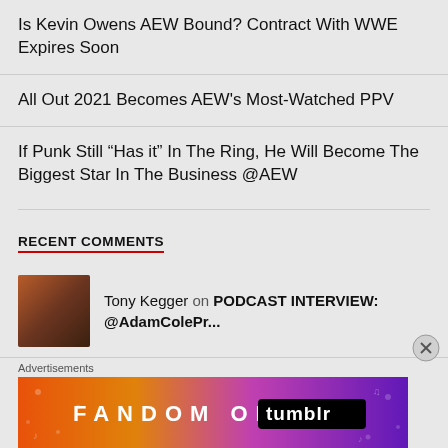Is Kevin Owens AEW Bound? Contract With WWE Expires Soon
All Out 2021 Becomes AEW's Most-Watched PPV
If Punk Still “Has it” In The Ring, He Will Become The Biggest Star In The Business @AEW
RECENT COMMENTS
Tony Kegger on PODCAST INTERVIEW: @AdamColePr...
Advertisements
[Figure (illustration): Fandom on Tumblr advertisement banner with colorful orange-to-purple gradient background]